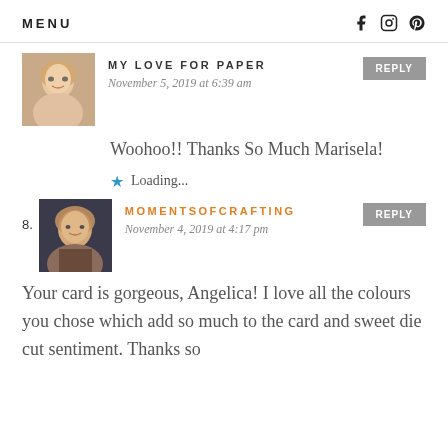MENU
[Figure (illustration): Avatar photo of a blonde woman smiling]
MY LOVE FOR PAPER
November 5, 2019 at 6:39 am
Woohoo!! Thanks So Much Marisela!
Loading...
8.
[Figure (photo): Avatar photo of an older woman with curly hair]
MOMENTSOFCRAFTING
November 4, 2019 at 4:17 pm
Your card is gorgeous, Angelica! I love all the colours you chose which add so much to the card and sweet die cut sentiment. Thanks so